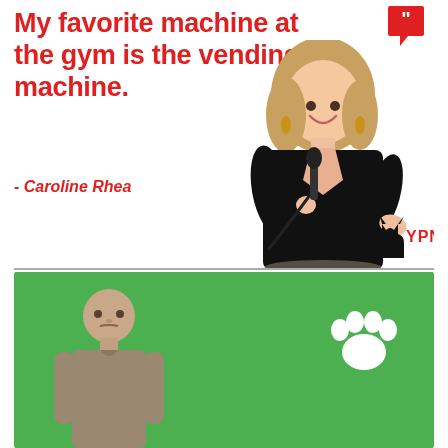My favorite machine at the gym is the vending machine.
- Caroline Rhea
[Figure (photo): A woman with blonde hair in a black outfit holding a microphone, smiling, performing stand-up comedy on stage]
[Figure (logo): YPN logo with cat silhouette]
[Figure (photo): A man in a grey t-shirt standing against a green background with a white paw print icon]